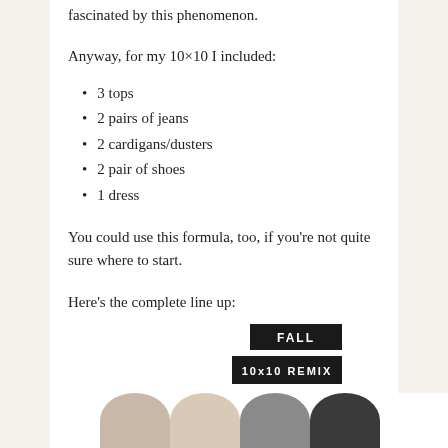fascinated by this phenomenon.
Anyway, for my 10×10 I included:
3 tops
2 pairs of jeans
2 cardigans/dusters
2 pair of shoes
1 dress
You could use this formula, too, if you're not quite sure where to start.
Here's the complete line up:
[Figure (illustration): FALL 10x10 REMIX badge/label in black with white text, and partial circles at the bottom representing clothing items in tan, beige, grey, and dark colors]